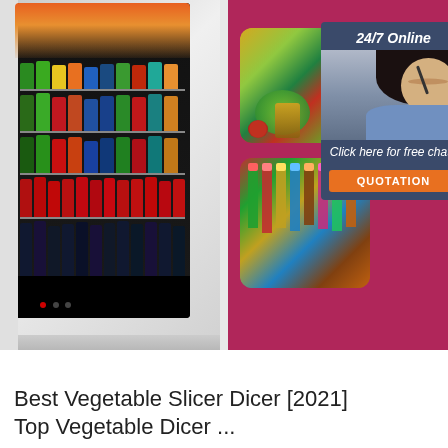[Figure (photo): Composite image: left half shows a commercial glass-door refrigerator/display cooler filled with colorful beverage bottles on multiple shelves with a warm orange-red light at top. Right half has a pink/magenta background with two inset photos: top-right shows fresh vegetables (cabbage, tomatoes, oil bottle, cucumbers), bottom-right shows assorted colorful glass bottles/drinks. In the upper-right corner a dark blue chat widget shows '24/7 Online' text, a customer service woman with headset, 'Click here for free chat!' text, and an orange 'QUOTATION' button.]
[Figure (logo): TOP logo — red dots arranged in an arch above bold red italic 'TOP' text]
Best Vegetable Slicer Dicer [2021] Top Vegetable Dicer ...